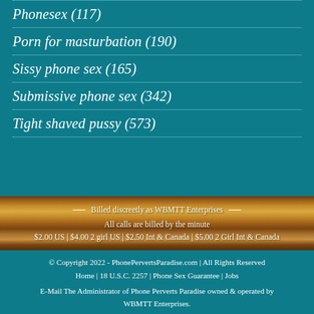Phonesex (117)
Porn for masturbation (190)
Sissy phone sex (165)
Submissive phone sex (342)
Tight shaved pussy (573)
Billed discreetly as WBMTT Enterprises
All calls are billed by the minute
$2.00 US | $4.00 2 girl US | $2.50 Int & Canada | $5.00 2 Girl Int & Canada
© Copyright 2022 - PhonePervertsParadise.com | All Rights Reserved
Home | 18 U.S.C. 2257 | Phone Sex Guarantee | Jobs

E-Mail The Administrator of Phone Perverts Paradise owned & operated by WBMTT Enterprises.